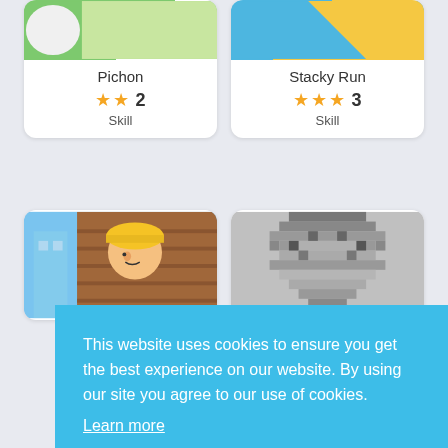[Figure (screenshot): Game card thumbnail for Pichon with green background]
Pichon
★★ 2 Skill
[Figure (screenshot): Game card thumbnail for Stacky Run with blue and yellow background]
Stacky Run
★★★ 3 Skill
[Figure (screenshot): Game card thumbnail for builder character game]
[Figure (screenshot): Game card thumbnail for pixel miner game]
This website uses cookies to ensure you get the best experience on our website. By using our site you agree to our use of cookies.
Learn more
Got it!